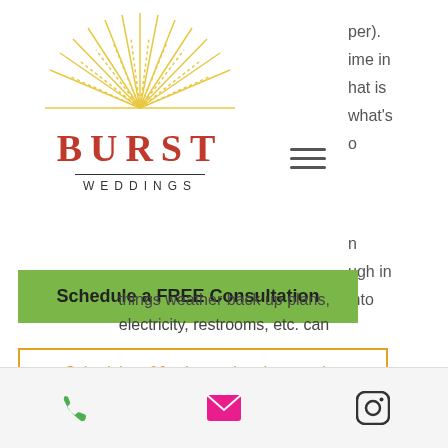[Figure (logo): Burst Weddings logo with sunburst rays above text BURST WEDDINGS]
per). ime in hat is what's o
Schedule a FREE Consultation
n ugh in into
Schedule a 90 minute planning session
ng an edding t
things weather back up plans, electricity, restrooms, etc. can
[Figure (infographic): Mobile footer bar with phone icon, email icon, and Instagram icon]